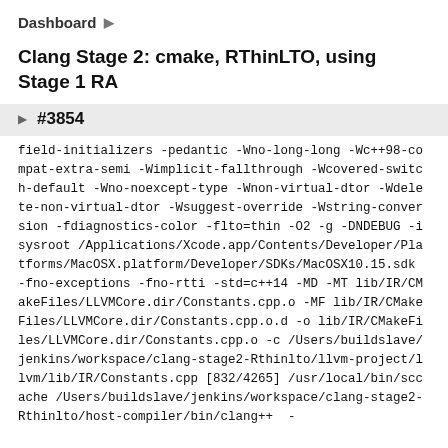Dashboard ▶
Clang Stage 2: cmake, RThinLTO, using Stage 1 RA
#3854
field-initializers -pedantic -Wno-long-long -Wc++98-compat-extra-semi -Wimplicit-fallthrough -Wcovered-switch-default -Wno-noexcept-type -Wnon-virtual-dtor -Wdelete-non-virtual-dtor -Wsuggest-override -Wstring-conversion -fdiagnostics-color -flto=thin -O2 -g -DNDEBUG -isysroot /Applications/Xcode.app/Contents/Developer/Platforms/MacOSX.platform/Developer/SDKs/MacOSX10.15.sdk    -fno-exceptions -fno-rtti -std=c++14 -MD -MT lib/IR/CMakeFiles/LLVMCore.dir/Constants.cpp.o -MF lib/IR/CMakeFiles/LLVMCore.dir/Constants.cpp.o.d -o lib/IR/CMakeFiles/LLVMCore.dir/Constants.cpp.o -c /Users/buildslave/jenkins/workspace/clang-stage2-Rthinlto/llvm-project/llvm/lib/IR/Constants.cpp [832/4265] /usr/local/bin/sccache /Users/buildslave/jenkins/workspace/clang-stage2-Rthinlto/host-compiler/bin/clang++ -